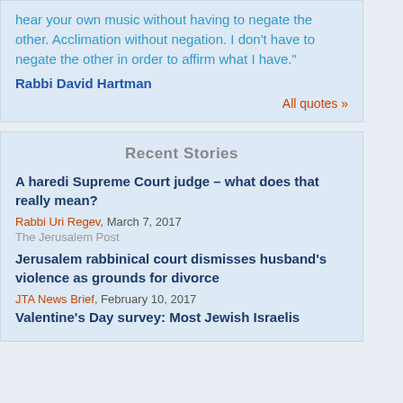hear your own music without having to negate the other. Acclimation without negation. I don't have to negate the other in order to affirm what I have."
Rabbi David Hartman
All quotes »
Recent Stories
A haredi Supreme Court judge – what does that really mean?
Rabbi Uri Regev, March 7, 2017
The Jerusalem Post
Jerusalem rabbinical court dismisses husband's violence as grounds for divorce
JTA News Brief, February 10, 2017
Valentine's Day survey: Most Jewish Israelis